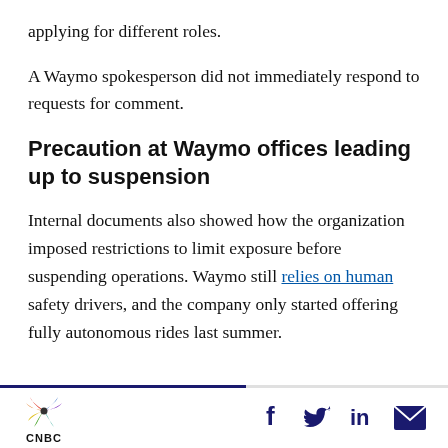applying for different roles.
A Waymo spokesperson did not immediately respond to requests for comment.
Precaution at Waymo offices leading up to suspension
Internal documents also showed how the organization imposed restrictions to limit exposure before suspending operations. Waymo still relies on human safety drivers, and the company only started offering fully autonomous rides last summer.
CNBC | Social sharing icons: Facebook, Twitter, LinkedIn, Email